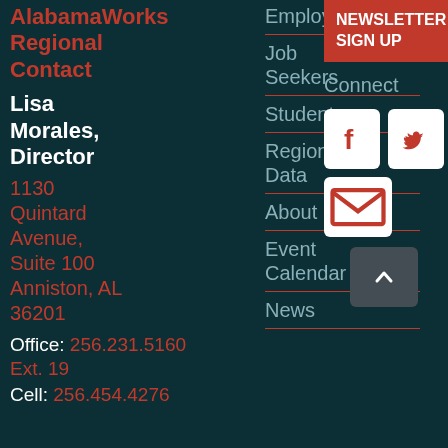AlabamaWorks Regional Contact
Lisa Morales, Director
1130 Quintard Avenue, Suite 100 Anniston, AL 36201
Office: 256.231.5160 Ext. 19
Cell: 256.454.4276
Employers
Job Seekers
Students
Regional Data
About
Event Calendar
News
NEWSLETTER SIGN UP
Connect
[Figure (other): Social media icons: Facebook, Twitter, Email buttons, and a back-to-top arrow button]